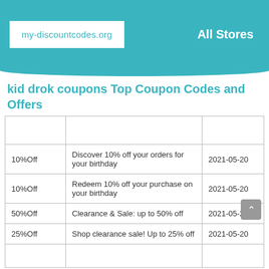my-discountcodes.org   All Stores
kid drok coupons Top Coupon Codes and Offers
|  |  |  |
| --- | --- | --- |
| 10%Off | Discover 10% off your orders for your birthday | 2021-05-20 |
| 10%Off | Redeem 10% off your purchase on your birthday | 2021-05-20 |
| 50%Off | Clearance & Sale: up to 50% off | 2021-05-20 |
| 25%Off | Shop clearance sale! Up to 25% off | 2021-05-20 |
|  |  |  |